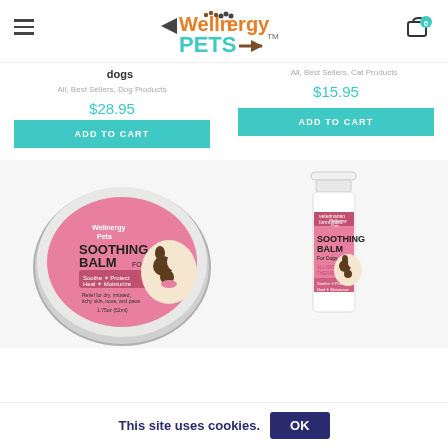Wellnergy Pets
dogs
All, Best Sellers, Dog Products
$28.95
ADD TO CART
All, Best Sellers, Cat Products
$15.95
ADD TO CART
[Figure (photo): Soothing Balm for Dogs tin product - Wellnergy Pets brand, pink label, with dog image, 1.75oz]
[Figure (photo): Soothing Balm for Dogs tube/bottle product - Wellnergy Pets brand, pink label, with dog image]
This site uses cookies. OK